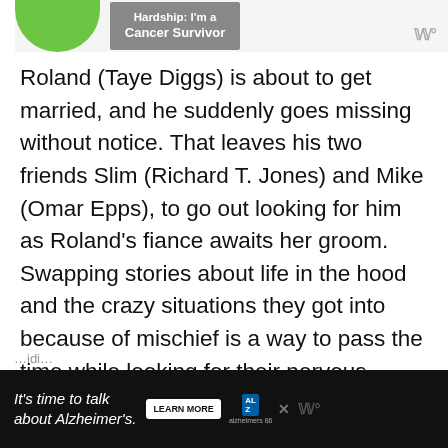[Figure (screenshot): Top banner area with green shape, blue Cancer Survivor badge, and Wℹ logo]
Roland (Taye Diggs) is about to get married, and he suddenly goes missing without notice. That leaves his two friends Slim (Richard T. Jones) and Mike (Omar Epps), to go out looking for him as Roland's fiance awaits her groom. Swapping stories about life in the hood and the crazy situations they got into because of mischief is a way to pass the time while looking for their nervous friend.
[Figure (screenshot): Bottom advertisement banner: It's time to talk about Alzheimer's. with LEARN MORE button and Alzheimer's Association logo]